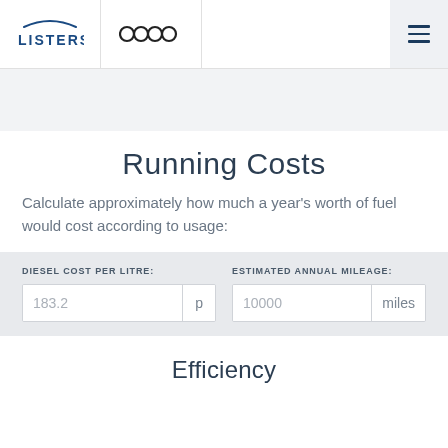LISTERS | Audi | Menu
Running Costs
Calculate approximately how much a year's worth of fuel would cost according to usage:
| DIESEL COST PER LITRE: | ESTIMATED ANNUAL MILEAGE: |
| --- | --- |
| 183.2 p | 10000 miles |
Efficiency